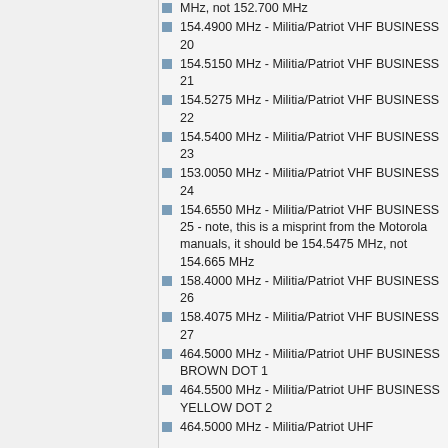MHz, not 152.700 MHz
154.4900 MHz - Militia/Patriot VHF BUSINESS 20
154.5150 MHz - Militia/Patriot VHF BUSINESS 21
154.5275 MHz - Militia/Patriot VHF BUSINESS 22
154.5400 MHz - Militia/Patriot VHF BUSINESS 23
153.0050 MHz - Militia/Patriot VHF BUSINESS 24
154.6550 MHz - Militia/Patriot VHF BUSINESS 25 - note, this is a misprint from the Motorola manuals, it should be 154.5475 MHz, not 154.665 MHz
158.4000 MHz - Militia/Patriot VHF BUSINESS 26
158.4075 MHz - Militia/Patriot VHF BUSINESS 27
464.5000 MHz - Militia/Patriot UHF BUSINESS BROWN DOT 1
464.5500 MHz - Militia/Patriot UHF BUSINESS YELLOW DOT 2
464.5000 MHz - Militia/Patriot UHF